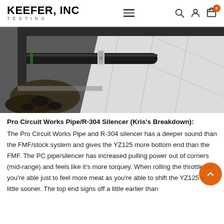KEEFER, INC TESTING — navigation bar with hamburger menu, search, account, cart (0)
[Figure (photo): Close-up photo of a motorcycle exhaust pipe (Pro Circuit Works Pipe) mounted on a motocross bike, resting on a white/checkered surface with dirt and debris visible]
Pro Circuit Works Pipe/R-304 Silencer (Kris's Breakdown):
The Pro Circuit Works Pipe and R-304 silencer has a deeper sound than the FMF/stock system and gives the YZ125 more bottom end than the FMF. The PC pipe/silencer has increased pulling power out of corners (mid-range) and feels like it's more torquey. When rolling the throttle on you're able just to feel more meat as you're able to shift the YZ125 a little sooner. The top end signs off a little earlier than